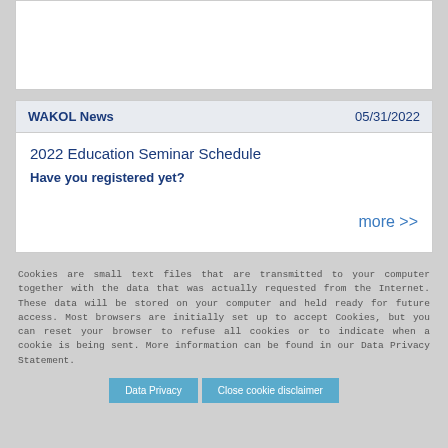WAKOL News   05/31/2022
2022 Education Seminar Schedule
Have you registered yet?
more >>
Cookies are small text files that are transmitted to your computer together with the data that was actually requested from the Internet. These data will be stored on your computer and held ready for future access. Most browsers are initially set up to accept Cookies, but you can reset your browser to refuse all cookies or to indicate when a cookie is being sent. More information can be found in our Data Privacy Statement.
Data Privacy
Close cookie disclaimer